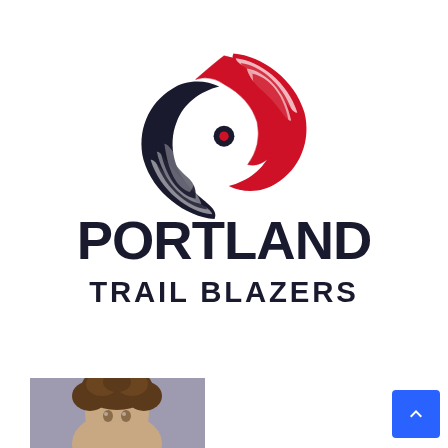[Figure (logo): Portland Trail Blazers official logo — pinwheel rip city emblem in red, black, and white above the text PORTLAND TRAIL BLAZERS in bold black lettering]
[Figure (photo): Headshot of a young person with curly hair against a purple/grey background, cropped at bottom of page]